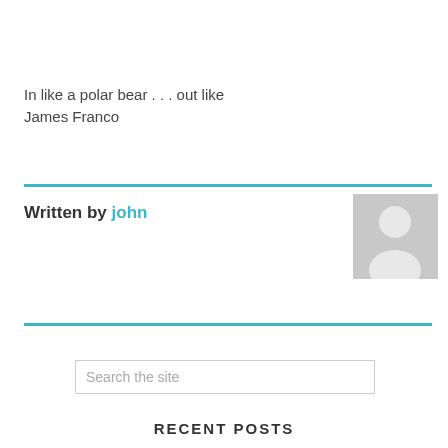In like a polar bear . . . out like James Franco
Written by john
[Figure (illustration): Grey placeholder avatar silhouette icon]
Search the site
RECENT POSTS